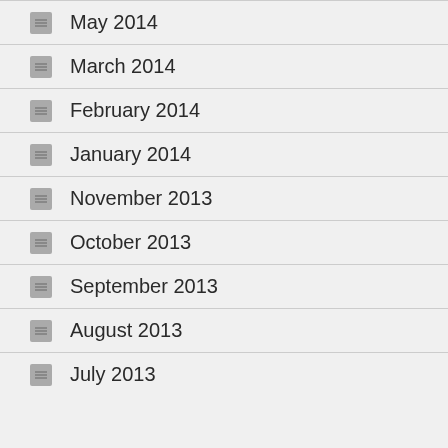May 2014
March 2014
February 2014
January 2014
November 2013
October 2013
September 2013
August 2013
July 2013